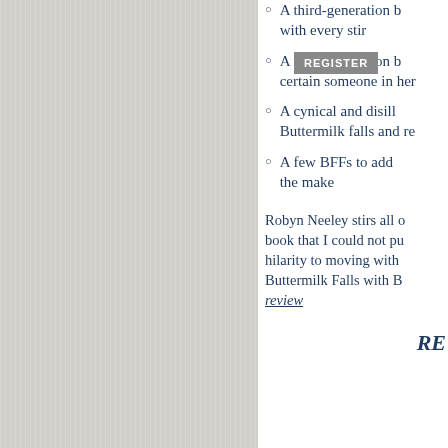A third-generation b... with every stir
A third-generation b... certain someone in her
A cynical and disilu... Buttermilk falls and rev
A few BFFs to add... the make
Robyn Neeley stirs all... book that I could not pu... hilarity to moving with... Buttermilk Falls with B... review
RE